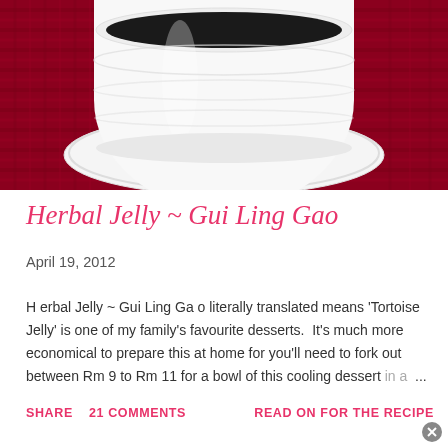[Figure (photo): Top-down view of a white bowl/ramekin containing dark herbal jelly (Gui Ling Gao) on a white saucer, placed on a dark red/crimson woven placemat background]
Herbal Jelly ~ Gui Ling Gao
April 19, 2012
H erbal Jelly ~ Gui Ling Ga o literally translated means 'Tortoise Jelly' is one of my family's favourite desserts.  It's much more economical to prepare this at home for you'll need to fork out between Rm 9 to Rm 11 for a bowl of this cooling dessert in a ...
SHARE   21 COMMENTS   READ ON FOR THE RECIPE